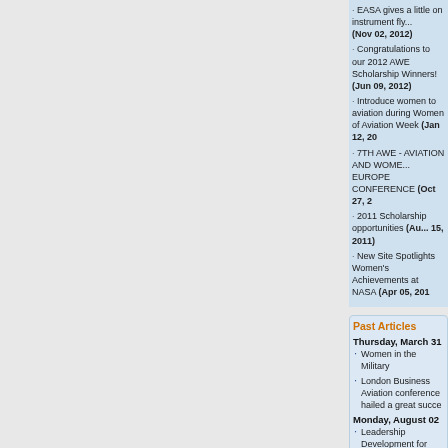EASA gives a little on instrument fly... (Nov 02, 2012)
Congratulations to our 2012 AWE Scholarship Winners! (Jun 09, 2012)
Introduce women to aviation during Women of Aviation Week (Jan 12, 20...)
7TH AWE - AVIATION AND WOME... EUROPE CONFERENCE (Oct 27, 2...)
2011 Scholarship opportunities (Au... 15, 2011)
New Site Spotlights Women's Achievements at NASA (Apr 05, 201...)
Past Articles
Thursday, March 31
Women in the Military
London Business Aviation conference hailed a great succe...
Monday, August 02
Leadership Development for Women in Aviation in South Afri...
Monday, June 14
Go Supersonic at the next Regional WAI Conference
Tuesday, May 11
1st International Learn to Fly Da... 15th May 2010
Friday, May 07
International Career EBACE Scholarship Winner
Monday, May 03
Women in Corporate Aviation Li... Up at EBACE
Friday, January 15
5th Women Air Show organized...